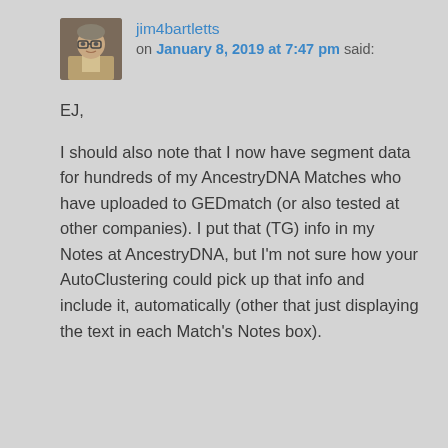jim4bartletts on January 8, 2019 at 7:47 pm said:
EJ,

I should also note that I now have segment data for hundreds of my AncestryDNA Matches who have uploaded to GEDmatch (or also tested at other companies). I put that (TG) info in my Notes at AncestryDNA, but I'm not sure how your AutoClustering could pick up that info and include it, automatically (other that just displaying the text in each Match's Notes box).